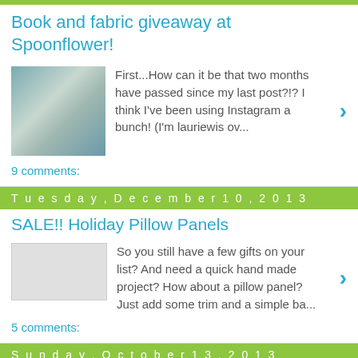Book and fabric giveaway at Spoonflower!
First...How can it be that two months have passed since my last post?!? I think I've been using Instagram a bunch! (I'm lauriewis ov...
9 comments:
Tuesday, December 10, 2013
SALE!! Holiday Pillow Panels
So you still have a few gifts on your list? And need a quick hand made project? How about a pillow panel? Just add some trim and a simple ba...
5 comments:
Sunday, October 13, 2013
NEW Holiday Pillow Panels in the store
Who's ready for the 2013 Holiday Pillow Panels!?